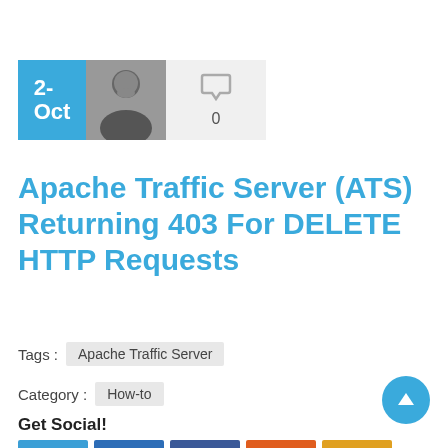[Figure (photo): Date box showing '2-Oct' in blue, author photo (man smiling), and comment count box with speech bubble icon showing 0]
Apache Traffic Server (ATS) Returning 403 For DELETE HTTP Requests
Tags :  Apache Traffic Server
Category :  How-to
Get Social!